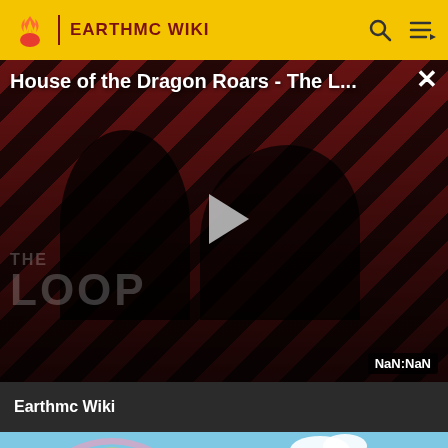EARTHMC WIKI
[Figure (screenshot): Video thumbnail for 'House of the Dragon Roars - The L...' showing two people with striped background, a play button in the center, THE LOOP watermark, and NaN:NaN duration badge]
Earthmc Wiki
[Figure (screenshot): Hello Kitty Cafe video thumbnail showing a pink cartoon cafe building with Hello Kitty Cafe sign, blue sky, rainbow, clouds]